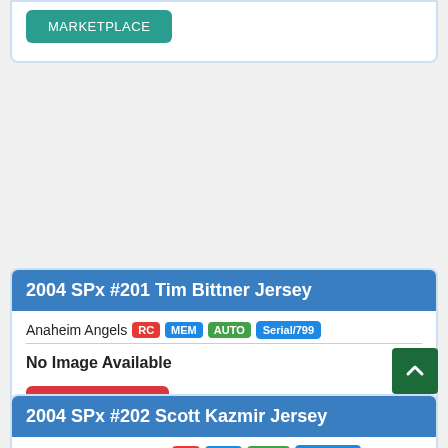[Figure (screenshot): Top partial card showing a MARKETPLACE button (teal) at the top, partial view of a trading card listing]
2004 SPx #201 Tim Bittner Jersey
Anaheim Angels RC MEM AUTO Serial/799
No Image Available
SEARCH EBAY
MARKETPLACE
2004 SPx #202 Scott Kazmir Jersey
Tampa Bay Devil Rays RC MEM AUTO Serial/799